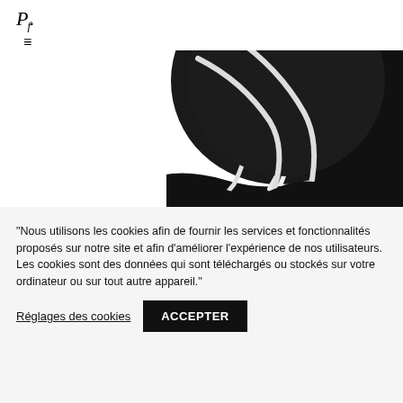[Figure (logo): Pf. brand logo in italic serif font with hamburger menu icon below]
[Figure (photo): Close-up of a black and white abstract fabric or textile piece with curved white lines on black background]
"Nous utilisons les cookies afin de fournir les services et fonctionnalités proposés sur notre site et afin d'améliorer l'expérience de nos utilisateurs. Les cookies sont des données qui sont téléchargés ou stockés sur votre ordinateur ou sur tout autre appareil."
Réglages des cookies
ACCEPTER